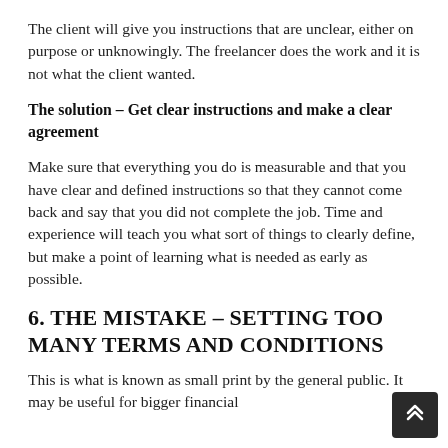The client will give you instructions that are unclear, either on purpose or unknowingly. The freelancer does the work and it is not what the client wanted.
The solution – Get clear instructions and make a clear agreement
Make sure that everything you do is measurable and that you have clear and defined instructions so that they cannot come back and say that you did not complete the job. Time and experience will teach you what sort of things to clearly define, but make a point of learning what is needed as early as possible.
6. THE MISTAKE – SETTING TOO MANY TERMS AND CONDITIONS
This is what is known as small print by the general public. It may be useful for bigger financial